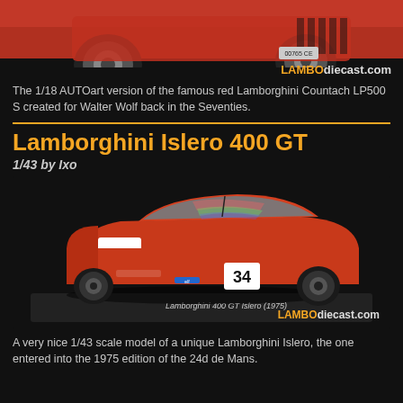[Figure (photo): Top portion of a red Lamborghini Countach LP500 S diecast model (1/18 AUTOart) showing the rear end and wheels against a dark background, with the LAMBOdiecast.com logo in the lower right corner.]
The 1/18 AUTOart version of the famous red Lamborghini Countach LP500 S created for Walter Wolf back in the Seventies.
Lamborghini Islero 400 GT
1/43 by Ixo
[Figure (photo): 1/43 scale model of a Lamborghini Islero 400 GT race car (number 34) in orange/red livery on a black display base. The base reads 'Lamborghini 400 GT Islero (1975)' and the LAMBOdiecast.com logo appears at the bottom right.]
A very nice 1/43 scale model of a unique Lamborghini Islero, the one entered into the 1975 edition of the 24d de Mans.